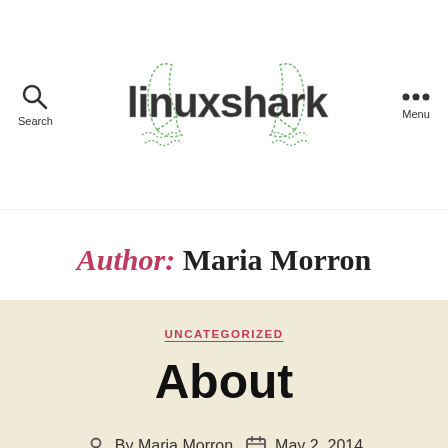[Figure (logo): linuxshark logo with shark fin illustrations and stylized text]
Author: Maria Morron
UNCATEGORIZED
About
By Maria Morron   May 2, 2014